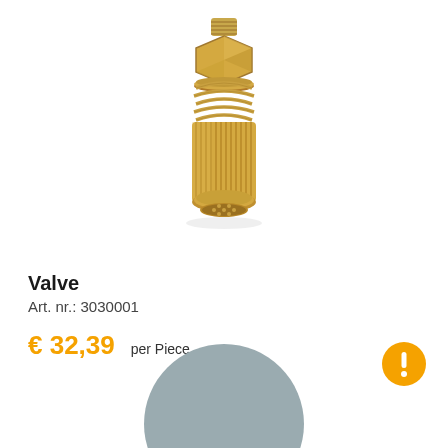[Figure (photo): A brass valve/fitting component — cylindrical knurled body with threaded top connector and coil spring, viewed at a slight angle. Gold/brass colored metal part.]
Valve
Art. nr.: 3030001
€ 32,39 per Piece
[Figure (other): Orange circular alert/warning icon with white exclamation mark, bottom right corner]
[Figure (other): Gray circle partially visible at bottom center of page]